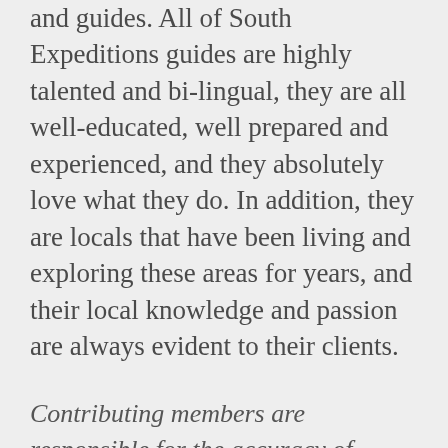and guides. All of South Expeditions guides are highly talented and bi-lingual, they are all well-educated, well prepared and experienced, and they absolutely love what they do. In addition, they are locals that have been living and exploring these areas for years, and their local knowledge and passion are always evident to their clients.
Contributing members are responsible for the accuracy of content contributed to the Member News section of AdventureTravelNews.